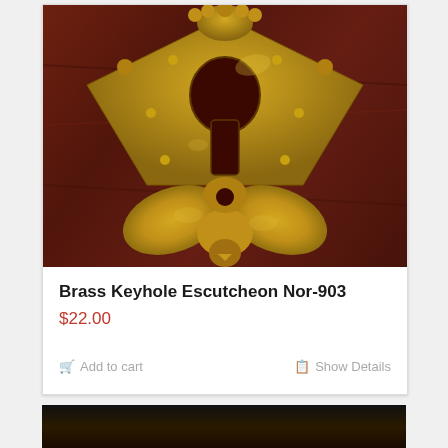[Figure (photo): Close-up photo of an antique brass keyhole escutcheon mounted on dark reddish-brown wood. The escutcheon has ornate decorative metalwork with a traditional keyhole shape at the top and a fleur-de-lis style base with rounded lobes.]
Brass Keyhole Escutcheon Nor-903
$22.00
Add to cart
Show Details
[Figure (photo): Partial view of another product image at the bottom of the page, showing a dark background.]